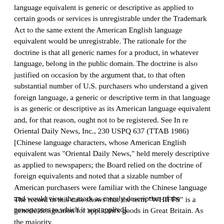language equivalent is generic or descriptive as applied to certain goods or services is unregistrable under the Trademark Act to the same extent the American English language equivalent would be unregistrable. The rationale for the doctrine is that all generic names for a product, in whatever language, belong in the public domain. The doctrine is also justified on occasion by the argument that, to that often substantial number of U.S. purchasers who understand a given foreign language, a generic or descriptive term in that language is as generic or descriptive as its American language equivalent and, for that reason, ought not to be registered. See In re Oriental Daily News, Inc., 230 USPQ 637 (TTAB 1986) [Chinese language characters, whose American English equivalent was "Oriental Daily News," held merely descriptive as applied to newspapers; the Board relied on the doctrine of foreign equivalents and noted that a sizable number of American purchasers were familiar with the Chinese language and would view the mark as merely descriptive of the newspapers to which it was applied].
The record in this case shows that the term "WHIFFS" is a generic designation for applicant's goods in Great Britain. As the majority